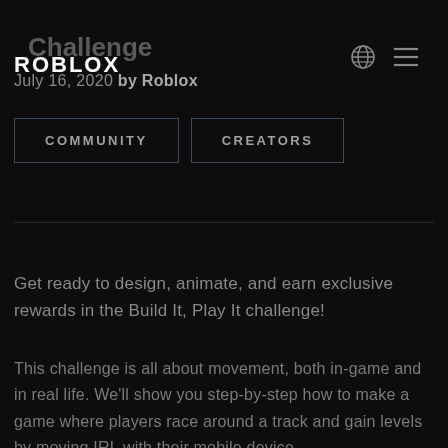Challenge ROBLOX
July 16, 2020 by Roblox
COMMUNITY   CREATORS
Get ready to design, animate, and earn exclusive rewards in the Build It, Play It challenge!
This challenge is all about movement, both in-game and in real life. We'll show you step-by-step how to make a game where players race around a track and gain levels by moving IRL with their mobile device